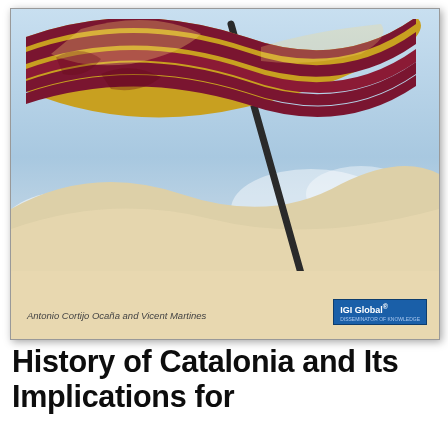[Figure (photo): Book cover of 'History of Catalonia and Its Implications for...' published by IGI Global. The cover features a Catalan flag (senyera) with yellow and dark red stripes waving against a light blue sky background with clouds. The lower portion of the cover has a sandy beige color. Authors listed: Antonio Cortijo Ocaña and Vicent Martines. IGI Global logo in bottom right.]
History of Catalonia and Its Implications for